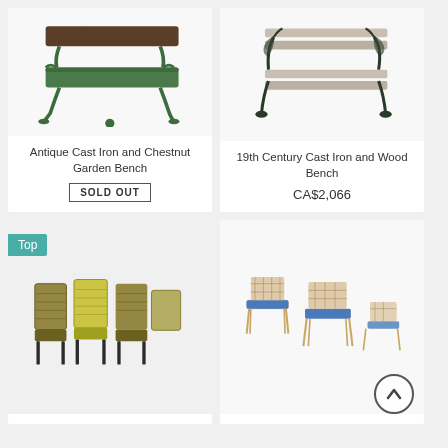[Figure (photo): Antique cast iron and chestnut garden bench with green painted wood seat and back, decorative iron legs]
Antique Cast Iron and Chestnut Garden Bench
SOLD OUT
[Figure (photo): 19th century cast iron and wood bench with weathered grey wooden slats and decorative black iron frame]
19th Century Cast Iron and Wood Bench
CA$2,066
[Figure (photo): Set of vintage green/yellow wicker and metal stacking chairs with Top badge]
[Figure (photo): Set of light wood chairs with blue cushions and cane backs]